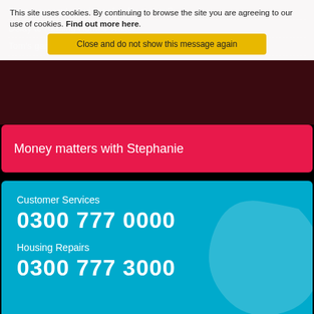Does your rent provide value for money?
Delay to Renting Homes Wales
Tom's gardening tips
This site uses cookies. By continuing to browse the site you are agreeing to our use of cookies. Find out more here.
Close and do not show this message again
Money matters with Stephanie
Customer Services
0300 777 0000
Housing Repairs
0300 777 3000
Tai Tarian Ltd is a registered society under the Co-operative and Community Benefit Societies Act 2014 (31041R). Welsh Government registration No. L154.
Copyright © Tai Tarian Ltd 2022